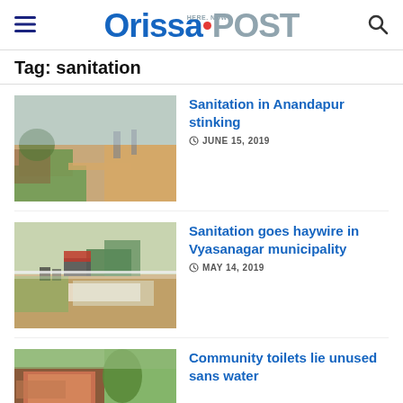OrissaPOST
Tag: sanitation
[Figure (photo): Roadside littered with garbage and waste in an open area, Anandapur]
Sanitation in Anandapur stinking
JUNE 15, 2019
[Figure (photo): Road with truck and garbage dumped on the roadside in Vyasanagar municipality]
Sanitation goes haywire in Vyasanagar municipality
MAY 14, 2019
[Figure (photo): Community toilet building partially visible]
Community toilets lie unused sans water